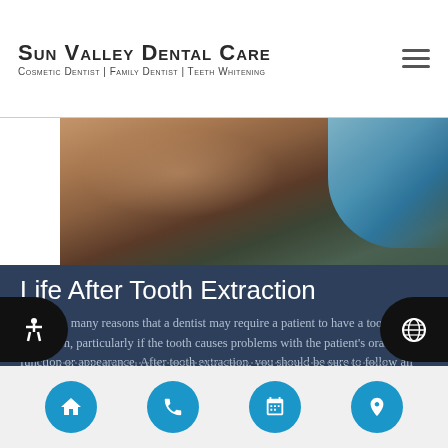Sun Valley Dental Care — Cosmetic Dentist | Family Dentist | Teeth Whitening
[Figure (photo): Close-up photograph of a patient's neck and lower face area with a gloved hand, taken in a clinical dental setting]
Life After Tooth Extraction
There are many reasons that a dentist may require a patient to have a tooth extraction, particularly if the tooth causes problems with the patient's oral health, function or appearance. After tooth extraction, you should be sure to follow all aftercare instructions provided by the dentist and understand what options are available to replace the…